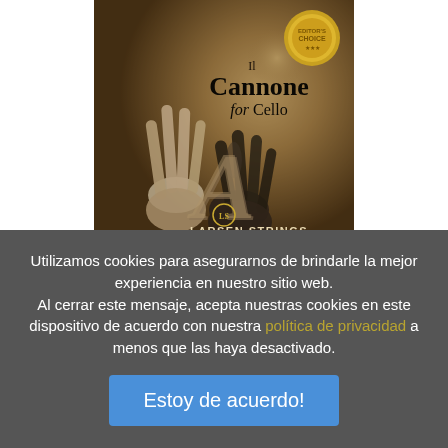[Figure (illustration): Product packaging for Larsen Strings 'Il Cannone for Cello A' string. Dark brown/gold textured background with two hands reaching up (one pale/dusty, one dark gloved), a large letter A, the Larsen logo circle, a gold award medallion, and text 'LARSEN STRINGS Violoncello · I-La · Medium'.]
Utilizamos cookies para asegurnarnos de brindarle la mejor experiencia en nuestro sitio web. Al cerrar este mensaje, acepta nuestras cookies en este dispositivo de acuerdo con nuestra política de privacidad a menos que las haya desactivado.
Estoy de acuerdo!